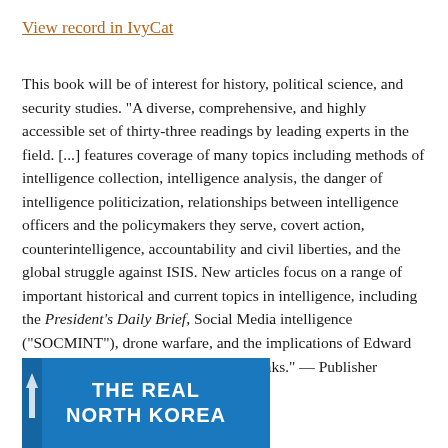View record in IvyCat
This book will be of interest for history, political science, and security studies. "A diverse, comprehensive, and highly accessible set of thirty-three readings by leading experts in the field. [...] features coverage of many topics including methods of intelligence collection, intelligence analysis, the danger of intelligence politicization, relationships between intelligence officers and the policymakers they serve, covert action, counterintelligence, accountability and civil liberties, and the global struggle against ISIS. New articles focus on a range of important historical and current topics in intelligence, including the President's Daily Brief, Social Media intelligence ("SOCMINT"), drone warfare, and the implications of Edward Snowden's controversial intelligence leaks." — Publisher
[Figure (photo): Book cover image showing 'THE REAL NORTH KOREA' text on a blue background with a small figure/icon at the bottom left]